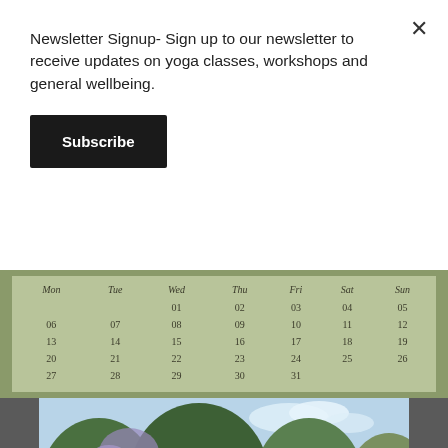Newsletter Signup- Sign up to our newsletter to receive updates on yoga classes, workshops and general wellbeing.
Subscribe
| Mon | Tue | Wed | Thu | Fri | Sat | Sun |
| --- | --- | --- | --- | --- | --- | --- |
|  |  | 01 | 02 | 03 | 04 | 05 |
| 06 | 07 | 08 | 09 | 10 | 11 | 12 |
| 13 | 14 | 15 | 16 | 17 | 18 | 19 |
| 20 | 21 | 22 | 23 | 24 | 25 | 26 |
| 27 | 28 | 29 | 30 | 31 |  |  |
[Figure (photo): Garden photo with flowers and trees, pink roses and blue sky visible]